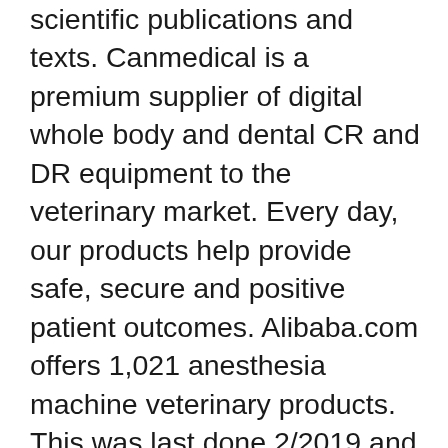scientific publications and texts. Canmedical is a premium supplier of digital whole body and dental CR and DR equipment to the veterinary market. Every day, our products help provide safe, secure and positive patient outcomes. Alibaba.com offers 1,021 anesthesia machine veterinary products. This was last done 2/2019 and the machine was taken out of service 3/2020. Find here Veterinary Anesthesia Machine, Vet Anesthesia Machine manufacturers, suppliers & exporters in India. We welcome suggestions at all times. An anesthesia machine safety-check (Preventative Maintenance) is critical to ensure this life providing device is working properly (within manufacturer specifications) and to prevent the exposure to clinic personnel from